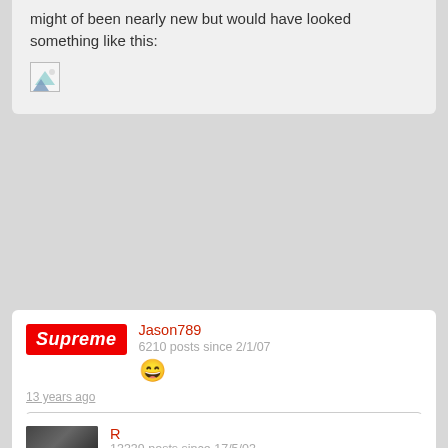might of been nearly new but would have looked something like this:
[Figure (photo): Broken image placeholder icon]
Jason789
6210 posts since 2/1/07
13 years ago
R wrote: guy i know got an almost new 911 turbo for 7.5k at one
stuff like this should go in the old wives tale thread
R
13339 posts since 17/5/03